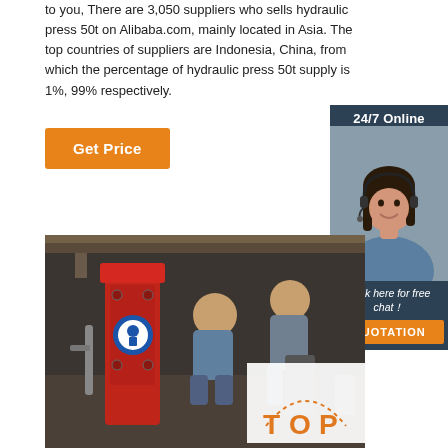to you, There are 3,050 suppliers who sells hydraulic press 50t on Alibaba.com, mainly located in Asia. The top countries of suppliers are Indonesia, China, from which the percentage of hydraulic press 50t supply is 1%, 99% respectively.
Get Price
[Figure (photo): Customer service representative with headset, 24/7 Online chat box with quotation button]
[Figure (photo): Workers operating a red hydraulic press machine in an industrial setting]